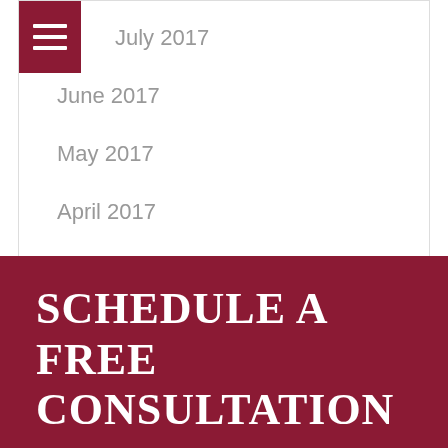July 2017
June 2017
May 2017
April 2017
March 2017
February 2017
January 2017
SCHEDULE A FREE CONSULTATION